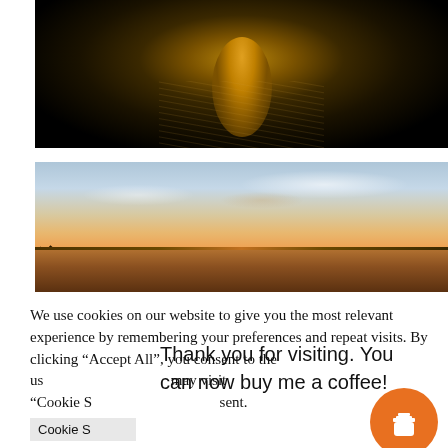[Figure (photo): Moonlight or sunlight reflection on dark water at night, golden streak of light on black water surface]
[Figure (photo): Sunset over water with soft orange and blue sky, clouds, horizon treeline silhouette]
We use cookies on our website to give you the most relevant experience by remembering your preferences and repeat visits. By clicking “Accept All”, you consent to the us may visit "Cookie S sent.
Thank you for visiting. You can now buy me a coffee!
Cookie S